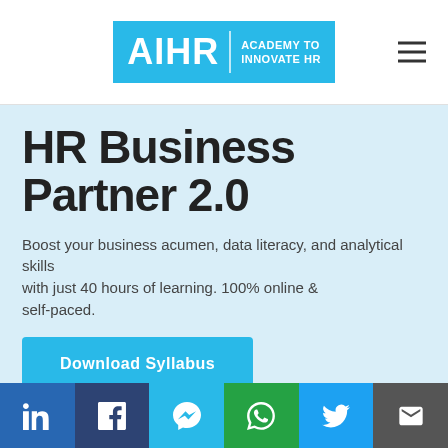[Figure (logo): AIHR Academy to Innovate HR logo on cyan/blue background]
HR Business Partner 2.0
Boost your business acumen, data literacy, and analytical skills with just 40 hours of learning. 100% online & self-paced.
[Figure (infographic): Download Syllabus button (cyan)]
[Figure (infographic): Social sharing bar with LinkedIn, Facebook, Messenger, WhatsApp, Twitter, Email icons]